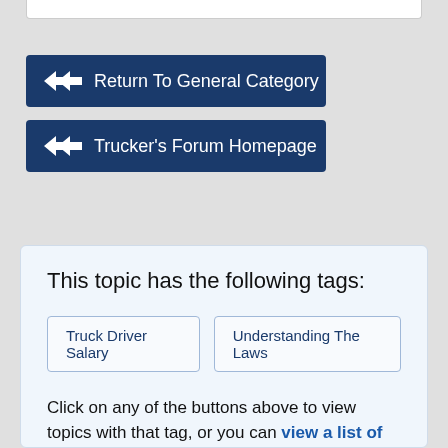[Figure (screenshot): Top white bar element at the top of page]
Return To General Category
Trucker's Forum Homepage
This topic has the following tags:
Truck Driver Salary
Understanding The Laws
Click on any of the buttons above to view topics with that tag, or you can view a list of all forum